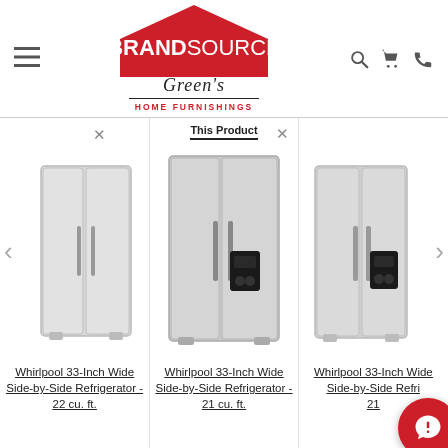[Figure (logo): BrandSource Green's Home Furnishings logo with red house shape]
[Figure (photo): Three Whirlpool 33-Inch Wide Side-by-Side Refrigerators shown side by side for comparison, with the center one labeled 'This Product']
Whirlpool 33-Inch Wide Side-by-Side Refrigerator - 22 cu. ft.
Whirlpool 33-Inch Wide Side-by-Side Refrigerator - 21 cu. ft.
Whirlpool 33-Inch Wide Side-by-Side Refrigerator - 21